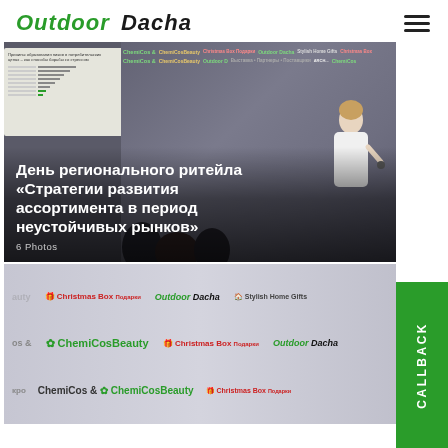Outdoor Dacha
[Figure (photo): Conference presentation scene. On the left side, a screen shows a slide with Russian text and horizontal bar charts. On the right, a young woman stands speaking into a microphone in front of a branded backdrop with logos including ChemiCos & ChemiCosBeauty, Outdoor Dacha, Christmas Box Подарки, Stylish Home Gifts. Conference attendees are visible in the foreground.]
День регионального ритейла «Стратегии развития ассортимента в период неустойчивых рынков»
6 Photos
[Figure (photo): Branded event backdrop/roll-up banner showing repeated sponsor logos: beauty, Christmas Box Подарки, Outdoor Dacha, Stylish Home Gifts, ChemiCos & ChemiCosBeauty, Christmas Box Подарки, Outdoor Dacha, ChemiCos & ChemiCosBeauty, Christmas Box Подарки]